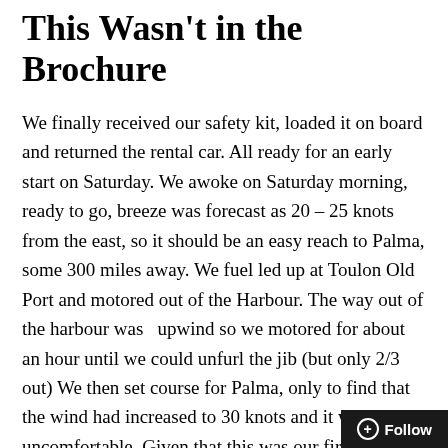This Wasn't in the Brochure
We finally received our safety kit, loaded it on board and returned the rental car. All ready for an early start on Saturday. We awoke on Saturday morning, ready to go, breeze was forecast as 20 – 25 knots from the east, so it should be an easy reach to Palma, some 300 miles away. We fuel led up at Toulon Old Port and motored out of the Harbour. The way out of the harbour was   upwind so we motored for about an hour until we could unfurl the jib (but only 2/3 out) We then set course for Palma, only to find that the wind had increased to 30 knots and it was very uncomfortable. Given that this was our first sail and we were still not familiar with the boat, we decided to sail to Bandol which was downwind most of the way. wind was now gusting to 35, so we knew we had made the right choice. Arriving in Bandol just after mid day, we went alongside a